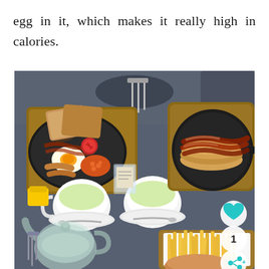egg in it, which makes it really high in calories.
[Figure (photo): Restaurant table with a full English breakfast on a wooden board (egg, bacon, beans, sausages, toast), a pancake with bacon strips on a cast iron skillet, two cups of green tea, a glass teapot, and a tray of french fries with part of a burger visible. Social media UI elements: heart/like button, count '1', and share button visible in bottom-right corner.]